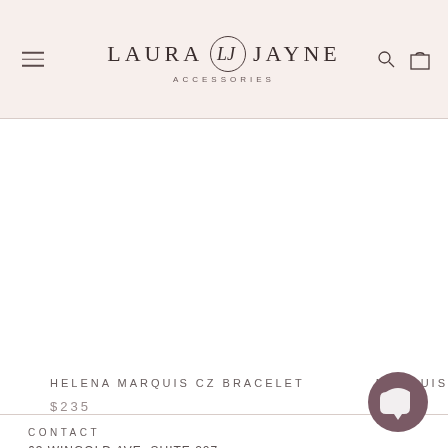[Figure (logo): Laura Jayne Accessories logo with stylized LJ monogram in a circle, flanked by hamburger menu icon and search/cart icons]
HELENA MARQUIS CZ BRACELET
$235
MARQUIS
$180
CONTACT
63 WINGOLD AVE, SUITE 207,